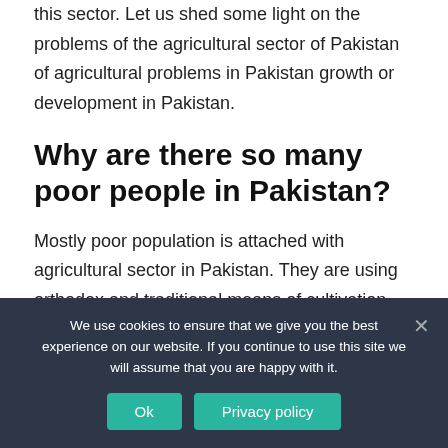this sector. Let us shed some light on the problems of the agricultural sector of Pakistan of agricultural problems in Pakistan growth or development in Pakistan.
Why are there so many poor people in Pakistan?
Mostly poor population is attached with agricultural sector in Pakistan. They are using orthodox and traditional means of cultivation. Our farmer is not interested to use the advanced and modern means
We use cookies to ensure that we give you the best experience on our website. If you continue to use this site we will assume that you are happy with it.
Ok
Privacy policy